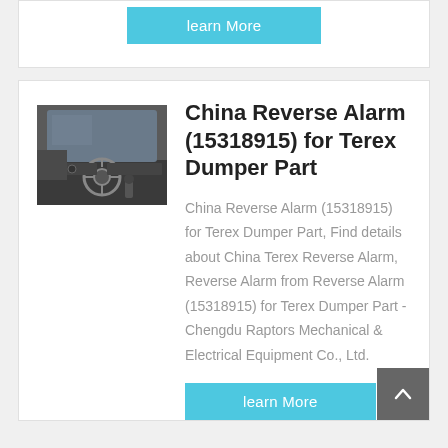[Figure (other): Learn More button (cyan/teal background, white text) at top of page]
[Figure (photo): Interior photo of a truck/dumper cab showing steering wheel and dashboard]
China Reverse Alarm (15318915) for Terex Dumper Part
China Reverse Alarm (15318915) for Terex Dumper Part, Find details about China Terex Reverse Alarm, Reverse Alarm from Reverse Alarm (15318915) for Terex Dumper Part - Chengdu Raptors Mechanical & Electrical Equipment Co., Ltd.
[Figure (other): Learn More button (cyan/teal background, white text)]